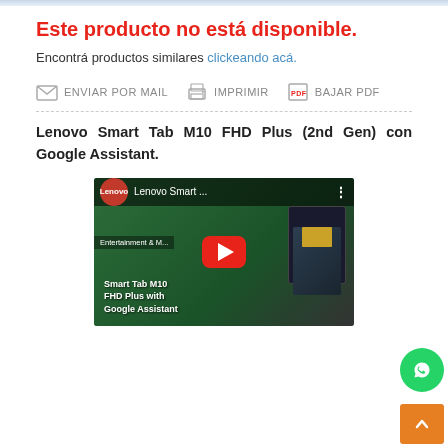Este producto no está disponible.
Encontrá productos similares clickeando acá.
[Figure (infographic): Action icons row: ENVIAR POR MAIL, IMPRIMIR, BAJAR PDF]
Lenovo Smart Tab M10 FHD Plus (2nd Gen) con Google Assistant.
[Figure (screenshot): YouTube video thumbnail for Lenovo Smart Tab M10 FHD Plus with Google Assistant, showing green background, Lenovo logo badge, play button, and tablet device graphic]